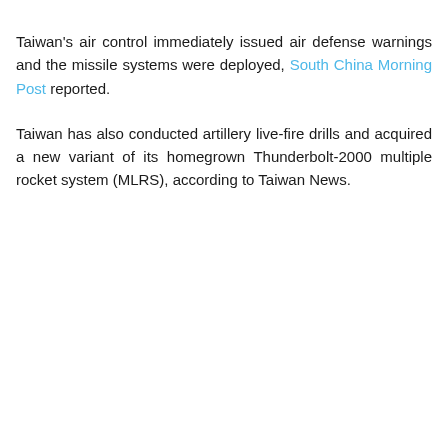Taiwan's air control immediately issued air defense warnings and the missile systems were deployed, South China Morning Post reported.
Taiwan has also conducted artillery live-fire drills and acquired a new variant of its homegrown Thunderbolt-2000 multiple rocket system (MLRS), according to Taiwan News.